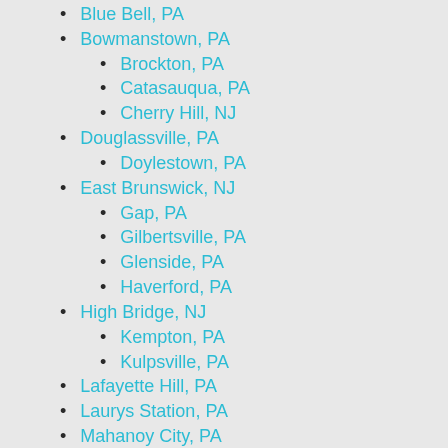Blue Bell, PA
Bowmanstown, PA
Brockton, PA
Catasauqua, PA
Cherry Hill, NJ
Douglassville, PA
Doylestown, PA
East Brunswick, NJ
Gap, PA
Gilbertsville, PA
Glenside, PA
Haverford, PA
High Bridge, NJ
Kempton, PA
Kulpsville, PA
Lafayette Hill, PA
Laurys Station, PA
Mahanoy City, PA
Merion Station, PA
Minisink Hills, PA